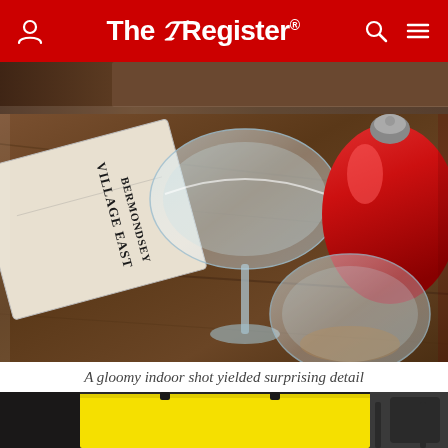The Register
[Figure (photo): Partial top photo, dark brown wooden table background, cropped]
[Figure (photo): Indoor restaurant table shot showing wine glasses, a menu from Village East Bermondsey, and red pepper mills on a wooden table]
A gloomy indoor shot yielded surprising detail
[Figure (photo): Bottom portion of photo showing a yellow bag and chairs in a restaurant interior]